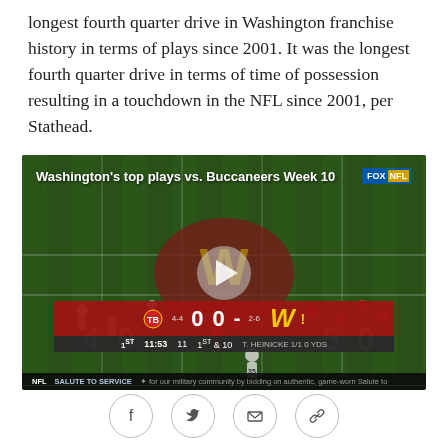longest fourth quarter drive in Washington franchise history in terms of plays since 2001. It was the longest fourth quarter drive in terms of time of possession resulting in a touchdown in the NFL since 2001, per Stathead.
[Figure (screenshot): Video thumbnail of an NFL game between Washington and Tampa Bay Buccaneers, Week 10. Shows aerial view of football field with players during a play. Overlay text reads 'Washington's top plays vs. Buccaneers Week 10'. FOX NFL logo in top right. Scoreboard shows 0-0 score, 1st quarter, 11:53, down 11, 1st & 10. T. HEINICKE 1/1 0 YDS. Bottom ticker: NFL SALUTE TO SERVICE message.]
[Figure (infographic): Social sharing icons row: Facebook, Twitter, Email, Link/Chain icons in circular outlines]